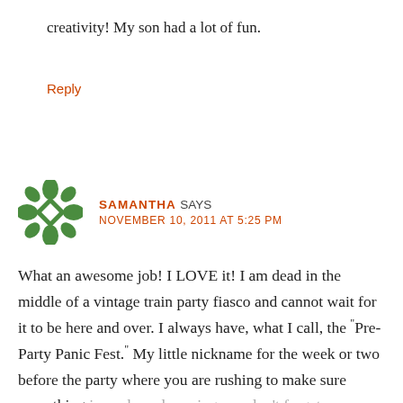creativity! My son had a lot of fun.
Reply
[Figure (illustration): Green decorative avatar icon with a snowflake-like cross pattern]
SAMANTHA SAYS
NOVEMBER 10, 2011 AT 5:25 PM
What an awesome job! I LOVE it! I am dead in the middle of a vintage train party fiasco and cannot wait for it to be here and over. I always have, what I call, the "Pre-Party Panic Fest." My little nickname for the week or two before the party where you are rushing to make sure everything is ready and praying you don't forget anything/mess anything up when it is too close to redo it. I hope my boys'